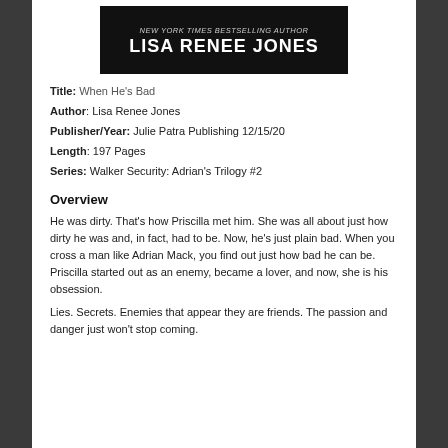[Figure (illustration): Black banner with 'NEW YORK TIMES BESTSELLING AUTHOR' in italic gray text above 'LISA RENEE JONES' in large bold white text]
Title: When He's Bad
Author:  Lisa Renee Jones
Publisher/Year:  Julie Patra Publishing 12/15/20
Length:  197 Pages
Series: Walker Security: Adrian's Trilogy #2
Overview
He was dirty. That’s how Priscilla met him. She was all about just how dirty he was and, in fact, had to be. Now, he’s just plain bad. When you cross a man like Adrian Mack, you find out just how bad he can be. Priscilla started out as an enemy, became a lover, and now, she is his obsession.
Lies. Secrets. Enemies that appear they are friends. The passion and danger just won’t stop coming.